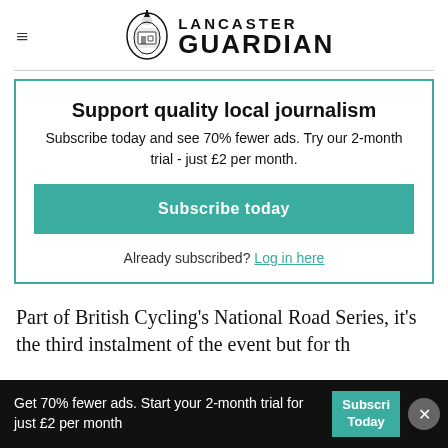Lancaster Guardian
Support quality local journalism
Subscribe today and see 70% fewer ads. Try our 2-month trial - just £2 per month.
Subscribe today
Already subscribed? Log in here
Part of British Cycling's National Road Series, it's the third instalment of the event but for th
Get 70% fewer ads. Start your 2-month trial for just £2 per month | Subscribe Today